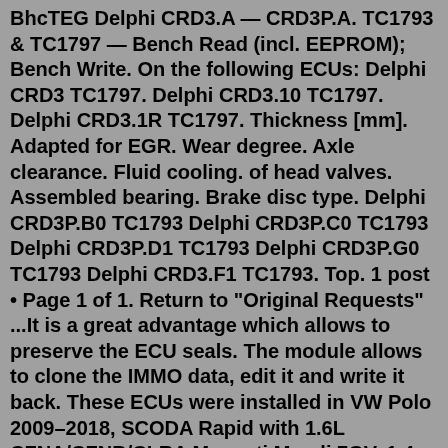BhcTEG Delphi CRD3.A — CRD3P.A. TC1793 & TC1797 — Bench Read (incl. EEPROM); Bench Write. On the following ECUs: Delphi CRD3 TC1797. Delphi CRD3.10 TC1797. Delphi CRD3.1R TC1797. Thickness [mm]. Adapted for EGR. Wear degree. Axle clearance. Fluid cooling. of head valves. Assembled bearing. Brake disc type. Delphi CRD3P.B0 TC1793 Delphi CRD3P.C0 TC1793 Delphi CRD3P.D1 TC1793 Delphi CRD3P.G0 TC1793 Delphi CRD3.F1 TC1793. Top. 1 post • Page 1 of 1. Return to "Original Requests" ...It is a great advantage which allows to preserve the ECU seals. The module allows to clone the IMMO data, edit it and write it back. These ECUs were installed in VW Polo 2009–2018, SCODA Rapid with 1.6L CFNA/CFNB/CLRA Magneti Mareli 7GV, 1.4 BUD/BXW/CGGA/CGGB Magneti Mareli 4HV engines. Attention! pcmflash.zip@PCMflash.Ru. pcmflash-1.2.5.zip@Google.Drive. 2021-11-30. Вышла версия 1.2.4. Добавлен новый модуль 79 "Mitsubishi CAN-bus Bootloader", предназначенный для работы с